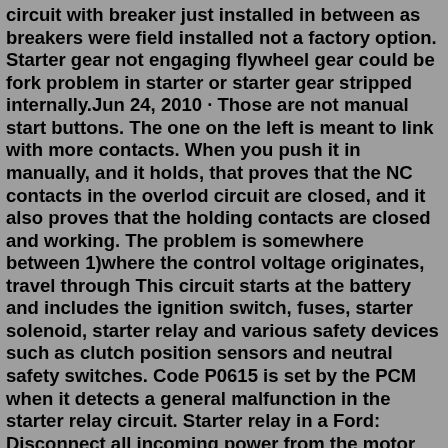circuit with breaker just installed in between as breakers were field installed not a factory option. Starter gear not engaging flywheel gear could be fork problem in starter or starter gear stripped internally.Jun 24, 2010 · Those are not manual start buttons. The one on the left is meant to link with more contacts. When you push it in manually, and it holds, that proves that the NC contacts in the overlod circuit are closed, and it also proves that the holding contacts are closed and working. The problem is somewhere between 1)where the control voltage originates, travel through This circuit starts at the battery and includes the ignition switch, fuses, starter solenoid, starter relay and various safety devices such as clutch position sensors and neutral safety switches. Code P0615 is set by the PCM when it detects a general malfunction in the starter relay circuit. Starter relay in a Ford: Disconnect all incoming power from the motor circuit. Check that the power is off by switching the volt-ohm meter to volts and placing the leads to the incoming power. The voltage should read